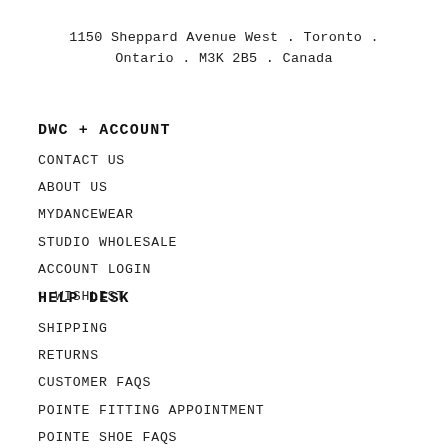1150 Sheppard Avenue West . Toronto . Ontario . M3K 2B5 . Canada
DWC + ACCOUNT
CONTACT US
ABOUT US
MYDANCEWEAR
STUDIO WHOLESALE
ACCOUNT LOGIN
♡  WISHLIST
HELP DESK
SHIPPING
RETURNS
CUSTOMER FAQS
POINTE FITTING APPOINTMENT
POINTE SHOE FAQS
PRODUCT SIZING